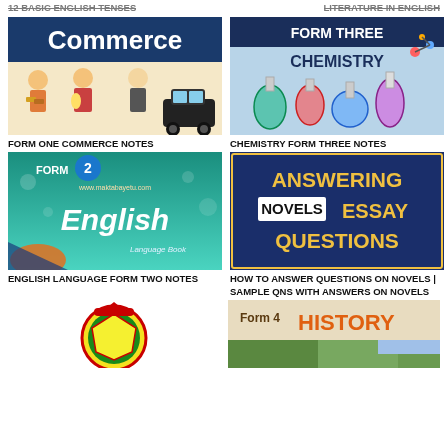12 Basic English Tenses
LITERATURE IN ENGLISH
[Figure (illustration): Commerce textbook cover with dark blue header and cartoon figures of people trading goods and a car]
FORM ONE COMMERCE NOTES
[Figure (illustration): Chemistry Form Three Notes cover with lab equipment, colorful flasks, and molecular models]
CHEMISTRY FORM THREE NOTES
[Figure (illustration): English Language Form 2 textbook cover with teal underwater background and large white English text]
ENGLISH LANGUAGE FORM TWO NOTES
[Figure (illustration): Answering Novels Essay Questions cover with blue background and gold text]
HOW TO ANSWER QUESTIONS ON NOVELS | SAMPLE QNS WITH ANSWERS ON NOVELS
[Figure (illustration): Circular logo/icon at bottom left]
[Figure (illustration): Form 4 History textbook cover at bottom right]